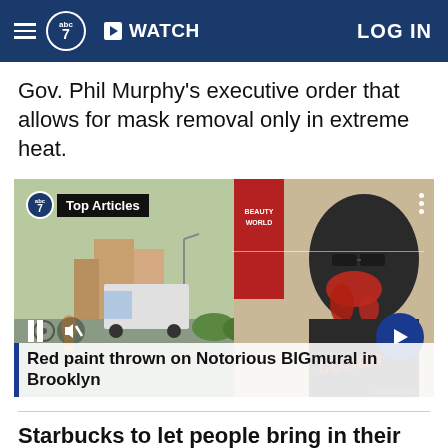abc7 WATCH LOG IN
Gov. Phil Murphy's executive order that allows for mask removal only in extreme heat.
[Figure (screenshot): News video thumbnail showing a street scene on the left with a person walking near parked cars and a white van, and on the right a large mural of the Notorious B.I.G. with red paint thrown on it. Overlay includes abc7 Top Articles label, pause and mute controls, and a blue arrow button. Bottom caption reads: Red paint thrown on Notorious BIGmural in Brooklyn]
Red paint thrown on Notorious BIGmural in Brooklyn
Starbucks to let people bring in their own mugs